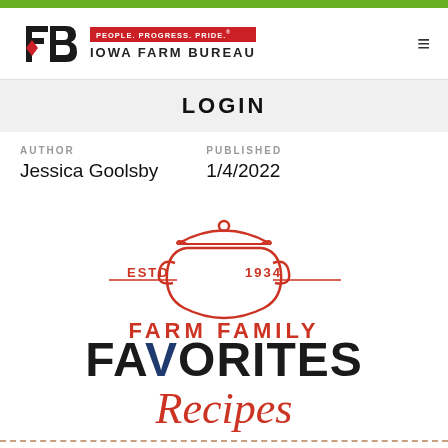PEOPLE. PROGRESS. PRIDE. IOWA FARM BUREAU
LOGIN
AUTHOR
Jessica Goolsby
PUBLISHED
1/4/2022
[Figure (logo): Farm Family Favorites Recipes logo with cooking pot illustration, ESTD 1934, red and dark blue lettering]